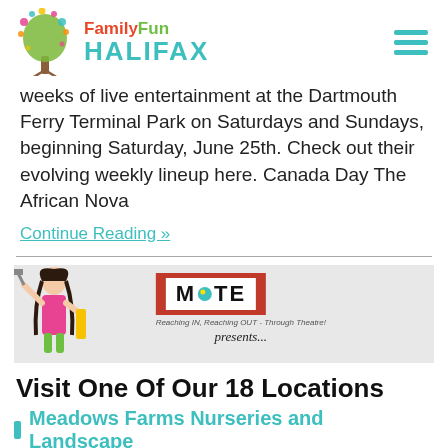FamilyFun HALIFAX
weeks of live entertainment at the Dartmouth Ferry Terminal Park on Saturdays and Sundays, beginning Saturday, June 25th. Check out their evolving weekly lineup here. Canada Day The African Nova
Continue Reading »
[Figure (illustration): Banner image for MITE theatre with illustrated figure on left, MITE logo in red box, subtitle 'Reaching IN, Reaching OUT - Through Theatre!' and italic text 'presents...']
Visit One Of Our 18 Locations
Meadows Farms Nurseries and Landscape
[Figure (photo): Bottom banner showing 'WOODLAWN LIBRARY AUDITORIUM' text and partial photo]